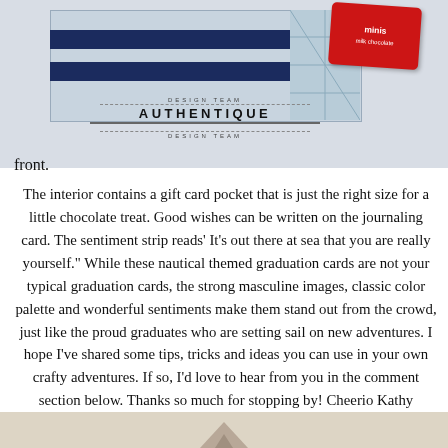[Figure (photo): Top portion showing a nautical-themed greeting card with navy blue stripes on a gray background, a red minis chocolate package on the right, and the Authentique Design Team logo/stamp overlaid in the center.]
front.
The interior contains a gift card pocket that is just the right size for a little chocolate treat. Good wishes can be written on the journaling card. The sentiment strip reads' It's out there at sea that you are really yourself." While these nautical themed graduation cards are not your typical graduation cards, the strong masculine images, classic color palette and wonderful sentiments make them stand out from the crowd, just like the proud graduates who are setting sail on new adventures. I hope I've shared some tips, tricks and ideas you can use in your own crafty adventures. If so, I'd love to hear from you in the comment section below. Thanks so much for stopping by! Cheerio Kathy
[Figure (photo): Partial bottom image showing the top edge of another card or decorative element with a diamond/chevron shape visible.]